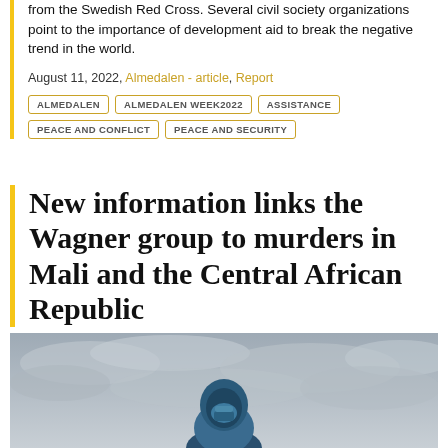from the Swedish Red Cross. Several civil society organizations point to the importance of development aid to break the negative trend in the world.
August 11, 2022, Almedalen - article, Report
ALMEDALEN
ALMEDALEN WEEK2022
ASSISTANCE
PEACE AND CONFLICT
PEACE AND SECURITY
New information links the Wagner group to murders in Mali and the Central African Republic
[Figure (photo): A person wearing a blue hooded jacket and face covering against a cloudy grey sky background.]